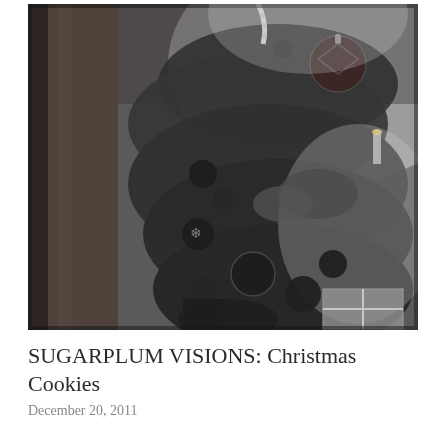[Figure (photo): Black and white photograph of a decorated Christmas tree with ornaments including dark baubles, ribbon bows, candy cane, and wrapped gifts underneath. A wooden door frame is visible to the left. The image has a grainy, vintage quality.]
SUGARPLUM VISIONS: Christmas Cookies
December 20, 2011